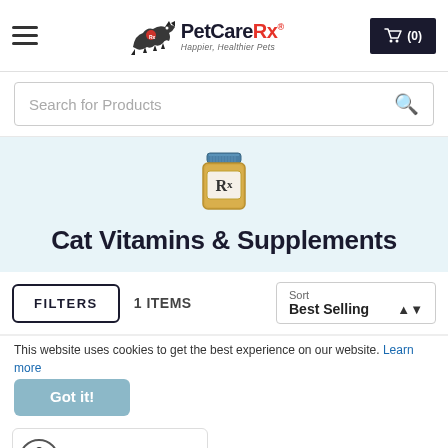PetCareRx – Happier, Healthier Pets
Search for Products
[Figure (illustration): Rx prescription bottle icon with gold/tan color and blue cap, labeled Rx]
Cat Vitamins & Supplements
FILTERS   1 ITEMS   Sort: Best Selling
This website uses cookies to get the best experience on our website. Learn more
Got it!
[Figure (photo): HomePet Skin & Itch product card partially visible at bottom of page with accessibility icon]